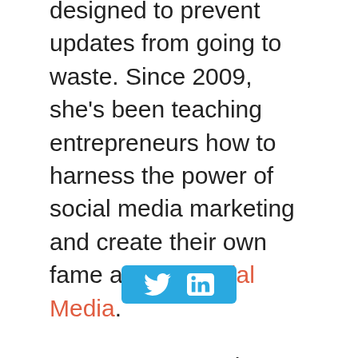designed to prevent updates from going to waste. Since 2009, she's been teaching entrepreneurs how to harness the power of social media marketing and create their own fame at LKR Social Media.
Laura was named one of the top 100 entrepreneurs under 35 in 2011, 2013 and 2014 and spoke at the White House about the value of entrepreneurship.
Laura has spoken at numerous influential industry conferences including, BlogWorld, The South by Southwest Interactive Conference, RealtyConnect, The Social Communications Summit and Blogging your way to a...